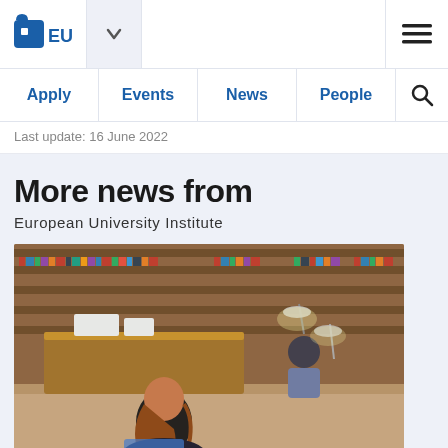EUI — European University Institute
Last update: 16 June 2022
More news from
European University Institute
[Figure (photo): Students studying in a library with wooden shelves filled with books, desk lamps, and a person seen from behind working at a desk]